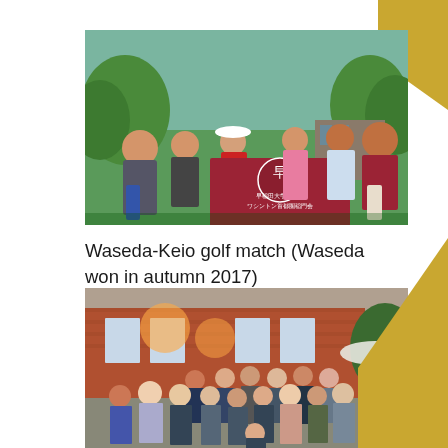[Figure (photo): Group photo of people holding a red Waseda University banner/flag on a golf course with green grass and trees in the background.]
Waseda-Keio golf match (Waseda won in autumn 2017)
[Figure (photo): Large group photo of people standing in front of a brick house, appears to be an outdoor gathering or party event.]